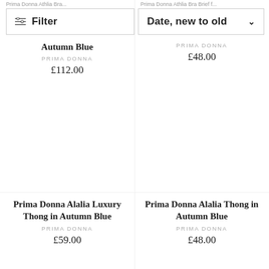Prima Donna Athlia Bra ... | Prima Donna Athlia Bra Brief f...
Filter
Date, new to old
Autumn Blue
PRIMA DONNA
£112.00
PRIMA DONNA
£48.00
Prima Donna Alalia Luxury Thong in Autumn Blue
PRIMA DONNA
£59.00
Prima Donna Alalia Thong in Autumn Blue
PRIMA DONNA
£48.00